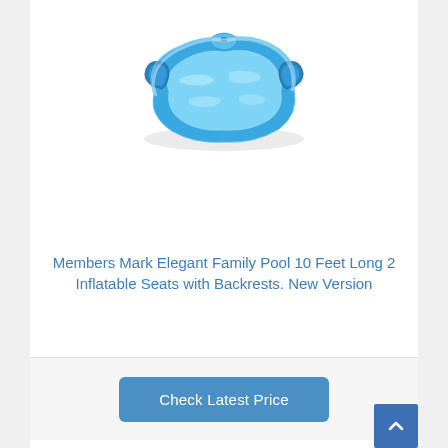[Figure (photo): Blue inflatable family pool with two built-in seats with backrests, viewed from above at an angle. The pool has a lounge-chair style design with armrests and a small headrest area, and appears to be filled with water.]
Members Mark Elegant Family Pool 10 Feet Long 2 Inflatable Seats with Backrests. New Version
Check Latest Price
Bestseller No. 6